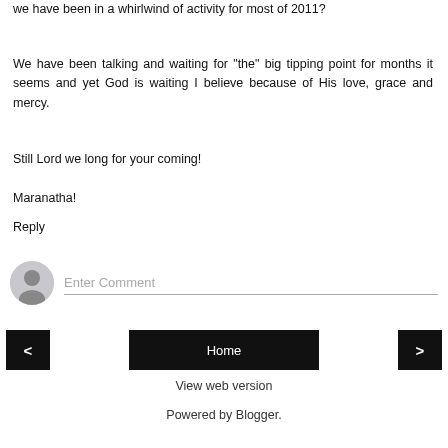we have been in a whirlwind of activity for most of 2011?
We have been talking and waiting for "the" big tipping point for months it seems and yet God is waiting I believe because of His love, grace and mercy.
Still Lord we long for your coming!
Maranatha!
Reply
[Figure (other): Comment input area with avatar icon and placeholder text 'Enter Comment']
[Figure (other): Navigation bar with previous arrow button, Home button, and next arrow button]
View web version
Powered by Blogger.